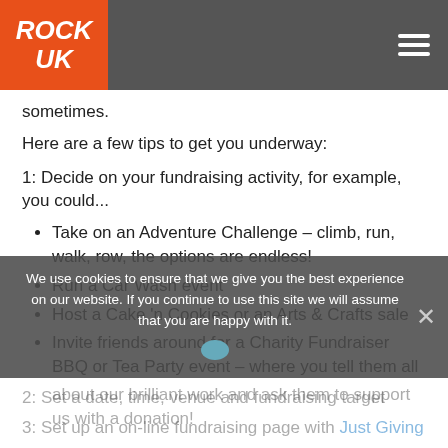ROCK UK
sometimes.
Here are a few tips to get you underway:
1: Decide on your fundraising activity, for example, you could...
Take on an Adventure Challenge – climb, run, walk, row, the options are endless!
Run a Car Wash event
Host a Cake 'n Cookies or an Arts & Crafts sale
Invite friends around for a Charity Fundraiser BBQ or Tea Party event – where you tell them all about our brilliant work and ask them to support us with a donation!
We use cookies to ensure that we give you the best experience on our website. If you continue to use this site we will assume that you are happy with it.
2: Set a date, time, venue and fundraising target
3: Set up an on-line fundraising page with Just Giving